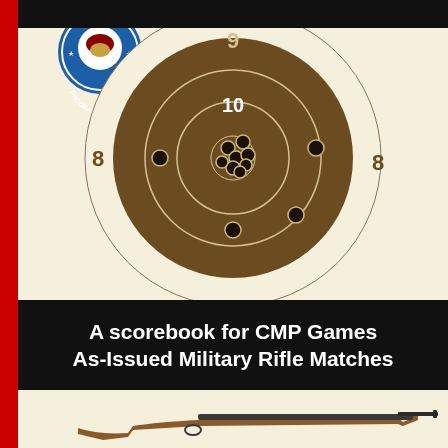[Figure (illustration): Book cover showing a shooting target with bullet holes in the 9 and 10 rings, a CMP program circular badge/logo in the upper left, and a rifle (M1 Garand style) at the bottom. Red stripe on left edge.]
A scorebook for CMP Games As-Issued Military Rifle Matches